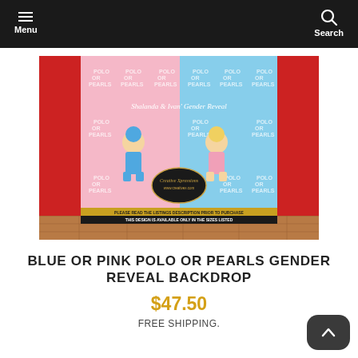Menu  Search
[Figure (photo): Product photo of a blue and pink Polo or Pearls gender reveal backdrop with baby boy and baby girl illustrations. Text reads 'PLEASE READ THE LISTINGS DESCRIPTION PRIOR TO PURCHASE. THIS DESIGN IS AVAILABLE ONLY IN THE SIZES LISTED']
BLUE OR PINK POLO OR PEARLS GENDER REVEAL BACKDROP
$47.50
FREE SHIPPING.